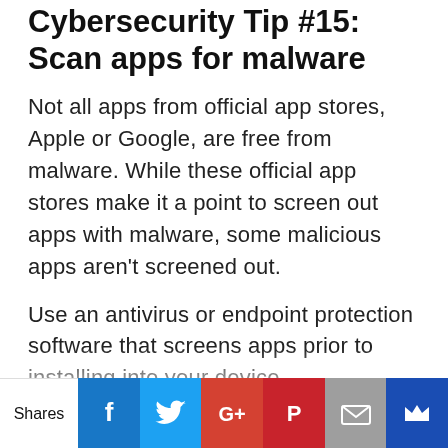Cybersecurity Tip #15: Scan apps for malware
Not all apps from official app stores, Apple or Google, are free from malware. While these official app stores make it a point to screen out apps with malware, some malicious apps aren't screened out.
Use an antivirus or endpoint protection software that screens apps prior to installing into your device.
Cybersecurity Tip #16: Fish out phishing emails
A phishing email is an email that looks like it comes from a trusted source, but it's...